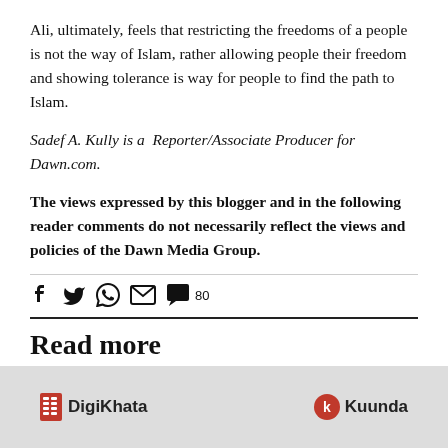Ali, ultimately, feels that restricting the freedoms of a people is not the way of Islam, rather allowing people their freedom and showing tolerance is way for people to find the path to Islam.
Sadef A. Kully is a Reporter/Associate Producer for Dawn.com.
The views expressed by this blogger and in the following reader comments do not necessarily reflect the views and policies of the Dawn Media Group.
[Figure (infographic): Social sharing icons: Facebook, Twitter, WhatsApp, Email, and a comment bubble with count 80]
Read more
[Figure (photo): Image showing DigiKhata and Kuunda logos on a banner]